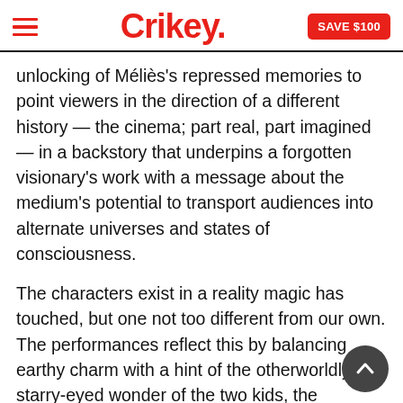Crikey.
unlocking of Méliès's repressed memories to point viewers in the direction of a different history — the cinema; part real, part imagined — in a backstory that underpins a forgotten visionary's work with a message about the medium's potential to transport audiences into alternate universes and states of consciousness.
The characters exist in a reality magic has touched, but one not too different from our own. The performances reflect this by balancing earthy charm with a hint of the otherworldly: the starry-eyed wonder of the two kids, the theatrical backstory and grand caricature of Ben Kingsley, the funny,